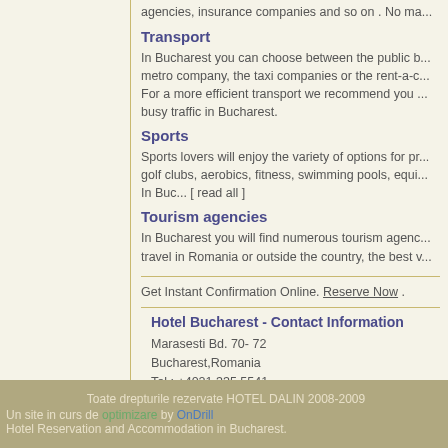agencies, insurance companies and so on . No ma...
Transport
In Bucharest you can choose between the public b... metro company, the taxi companies or the rent-a-c... For a more efficient transport we recommend you ... busy traffic in Bucharest.
Sports
Sports lovers will enjoy the variety of options for pr... golf clubs, aerobics, fitness, swimming pools, equi... In Buc... [ read all ]
Tourism agencies
In Bucharest you will find numerous tourism agenc... travel in Romania or outside the country, the best v...
Get Instant Confirmation Online. Reserve Now .
Hotel Bucharest - Contact Information
Marasesti Bd. 70- 72
Bucharest,Romania
Tel : +4021 335.5541
Fax: +4021 335.6306
Email: dalin@hoteldalin.ro
Toate drepturile rezervate HOTEL DALIN 2008-2009
Un site in curs de optimizare by OnDrill
Hotel Reservation and Accommodation in Bucharest.